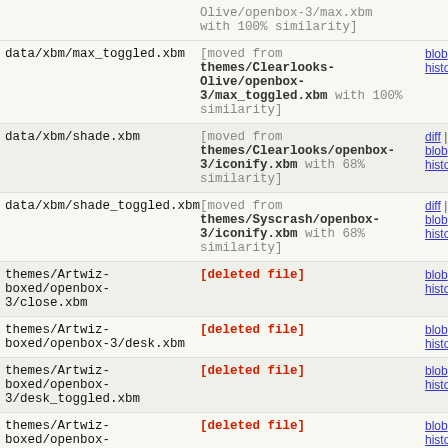| file | description | links |
| --- | --- | --- |
| (top row partial) | Olive/openbox-3/max.xbm with 100% similarity] |  |
| data/xbm/max_toggled.xbm | [moved from themes/Clearlooks-Olive/openbox-3/max_toggled.xbm with 100% similarity] | blob | history |
| data/xbm/shade.xbm | [moved from themes/Clearlooks/openbox-3/iconify.xbm with 68% similarity] | diff | blob | history |
| data/xbm/shade_toggled.xbm | [moved from themes/Syscrash/openbox-3/iconify.xbm with 68% similarity] | diff | blob | history |
| themes/Artwiz-boxed/openbox-3/close.xbm | [deleted file] | blob | history |
| themes/Artwiz-boxed/openbox-3/desk.xbm | [deleted file] | blob | history |
| themes/Artwiz-boxed/openbox-3/desk_toggled.xbm | [deleted file] | blob | history |
| themes/Artwiz-boxed/openbox-3/iconify.xbm | [deleted file] | blob | history |
| themes/Artwiz-boxed/openbox-3/max.xbm | [deleted file] | blob | history |
| themes/Artwiz-boxed/openbox-3/max_toggled.xbm | [deleted file] | blob | history |